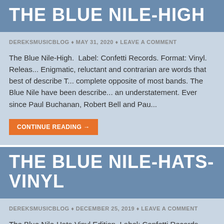THE BLUE NILE-HIGH
DEREKSMUSICBLOG ♦ MAY 31, 2020 ♦ LEAVE A COMMENT
The Blue Nile-High.  Label: Confetti Records. Format: Vinyl. Releas... Enigmatic, reluctant and contrarian are words that best of describe T... complete opposite of most bands. The Blue Nile have been describe... an understatement. Ever since Paul Buchanan, Robert Bell and Pau...
CONTINUE READING →
THE BLUE NILE-HATS-VINYL
DEREKSMUSICBLOG ♦ DECEMBER 25, 2019 ♦ LEAVE A COMMENT
The Blue Nile-Hats-Vinyl Edition. Label: Confetti Records. Enigmatic... are words that best of describe The Blue Nile. They're the complete...